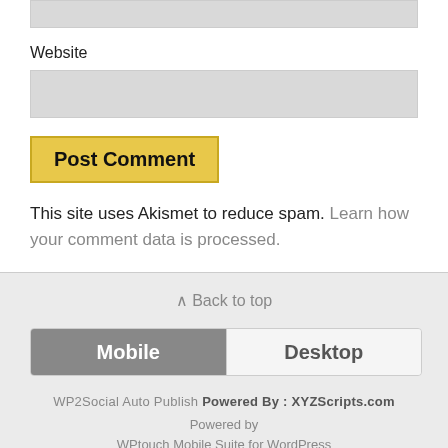Website
[Figure (screenshot): Input field for website URL (gray rectangle)]
[Figure (screenshot): Post Comment button with yellow/gold background]
This site uses Akismet to reduce spam. Learn how your comment data is processed.
[Figure (screenshot): Mobile/Desktop toggle bar with Mobile selected (gray) and Desktop unselected]
WP2Social Auto Publish Powered By : XYZScripts.com
Powered by
WPtouch Mobile Suite for WordPress